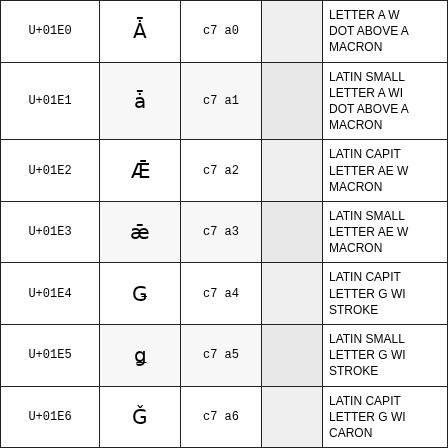| Code | Char | Bytes |  | Name |
| --- | --- | --- | --- | --- |
| U+01E0 | Ǡ | c7 a0 |  | LATIN CAPITAL LETTER A WITH DOT ABOVE AND MACRON |
| U+01E1 | ǡ | c7 a1 |  | LATIN SMALL LETTER A WITH DOT ABOVE AND MACRON |
| U+01E2 | Ǣ | c7 a2 |  | LATIN CAPITAL LETTER AE WITH MACRON |
| U+01E3 | ǣ | c7 a3 |  | LATIN SMALL LETTER AE WITH MACRON |
| U+01E4 | Ǥ | c7 a4 |  | LATIN CAPITAL LETTER G WITH STROKE |
| U+01E5 | ǥ | c7 a5 |  | LATIN SMALL LETTER G WITH STROKE |
| U+01E6 | Ǧ | c7 a6 |  | LATIN CAPITAL LETTER G WITH CARON |
| U+01E7 | ǧ | c7 a7 |  | LATIN SMALL LETTER G WITH... |